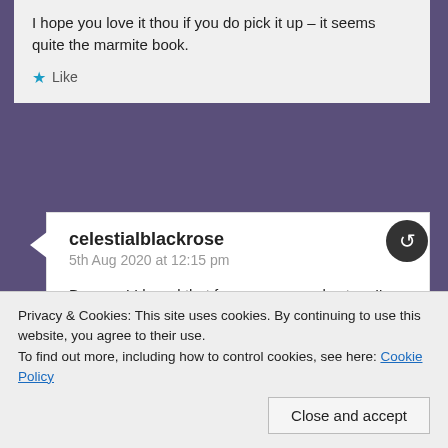I hope you love it thou if you do pick it up – it seems quite the marmite book.
Like
celestialblackrose
5th Aug 2020 at 12:15 pm
Bummer! I heard that from someone else too. I'm still hoping I can enjoy it but we'll see!
Like
Privacy & Cookies: This site uses cookies. By continuing to use this website, you agree to their use.
To find out more, including how to control cookies, see here: Cookie Policy
Close and accept